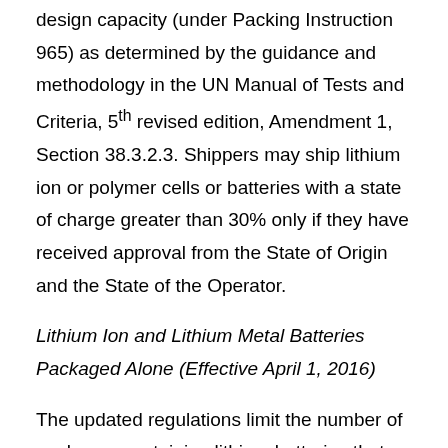design capacity (under Packing Instruction 965) as determined by the guidance and methodology in the UN Manual of Tests and Criteria, 5th revised edition, Amendment 1, Section 38.3.2.3. Shippers may ship lithium ion or polymer cells or batteries with a state of charge greater than 30% only if they have received approval from the State of Origin and the State of the Operator.
Lithium Ion and Lithium Metal Batteries Packaged Alone (Effective April 1, 2016)
The updated regulations limit the number of packages containing lithium batteries that are not shipped with equipment that may be placed in a shipment for the 5th overall Packing Instruction...